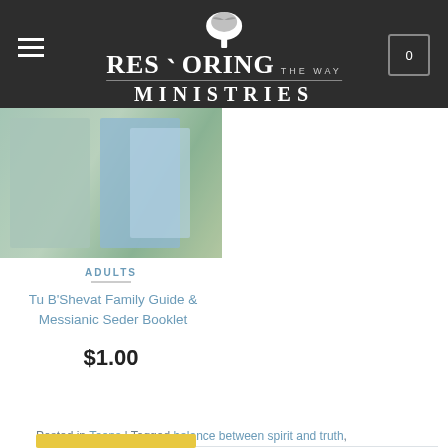Restoring the Way Ministries
[Figure (photo): Product image of Tu B'Shevat Family Guide & Messianic Seder Booklet - partially visible book covers in teal and green tones]
ADULTS
Tu B'Shevat Family Guide & Messianic Seder Booklet
$1.00
Posted in Teens | Tagged balance between spirit and truth, commandments, god's word, Holy Spirit, spirit and the word, spirit of God